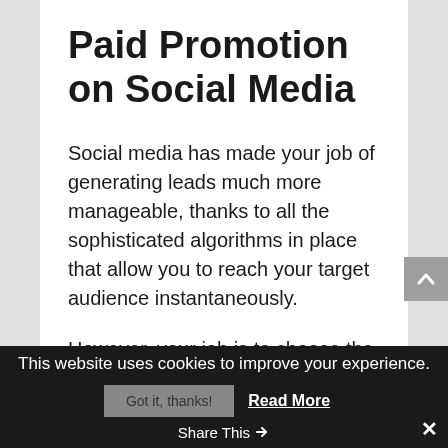Paid Promotion on Social Media
Social media has made your job of generating leads much more manageable, thanks to all the sophisticated algorithms in place that allow you to reach your target audience instantaneously.
However, your job is to choose the most appropriate social media platform for your business that is most preferred by your audience.
Facebook has the greatest number of users among
This website uses cookies to improve your experience. Got it, thanks! Read More Share This ✕